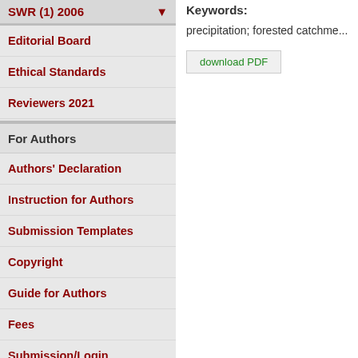SWR (1) 2006
Editorial Board
Ethical Standards
Reviewers 2021
For Authors
Authors' Declaration
Instruction for Authors
Submission Templates
Copyright
Guide for Authors
Fees
Submission/Login
Keywords:
precipitation; forested catchme...
download PDF